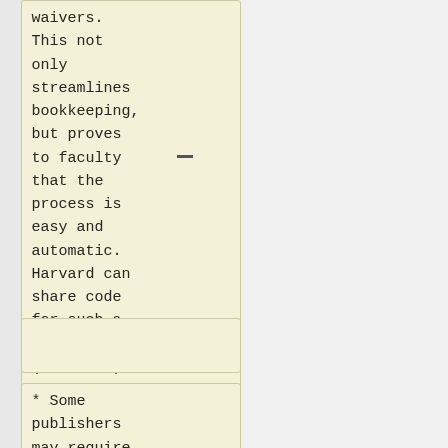waivers. This not only streamlines bookkeeping, but proves to faculty that the process is easy and automatic. Harvard can share code for such a web form (true?///).
* Some publishers may require faculty to